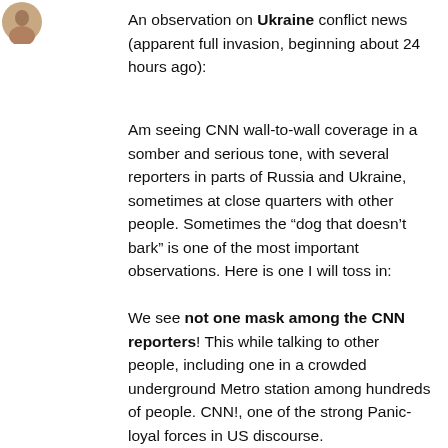[Figure (photo): Small circular avatar/profile photo in top-left corner]
An observation on Ukraine conflict news (apparent full invasion, beginning about 24 hours ago):
Am seeing CNN wall-to-wall coverage in a somber and serious tone, with several reporters in parts of Russia and Ukraine, sometimes at close quarters with other people. Sometimes the “dog that doesn’t bark” is one of the most important observations. Here is one I will toss in:
We see not one mask among the CNN reporters! This while talking to other people, including one in a crowded underground Metro station among hundreds of people. CNN!, one of the strong Panic-loyal forces in US discourse.